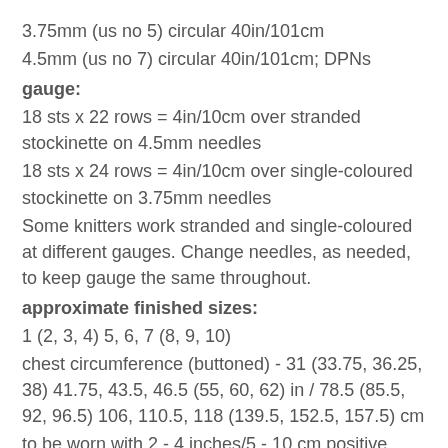3.75mm (us no 5) circular 40in/101cm
4.5mm (us no 7) circular 40in/101cm; DPNs
gauge:
18 sts x 22 rows = 4in/10cm over stranded stockinette on 4.5mm needles
18 sts x 24 rows = 4in/10cm over single-coloured stockinette on 3.75mm needles
Some knitters work stranded and single-coloured at different gauges. Change needles, as needed, to keep gauge the same throughout.
approximate finished sizes:
1 (2, 3, 4) 5, 6, 7 (8, 9, 10)
chest circumference (buttoned) - 31 (33.75, 36.25, 38) 41.75, 43.5, 46.5 (55, 60, 62) in / 78.5 (85.5, 92, 96.5) 106, 110.5, 118 (139.5, 152.5, 157.5) cm
to be worn with 2 - 4 inches/5 - 10 cm positive ease, but please see schematic for approximate finished